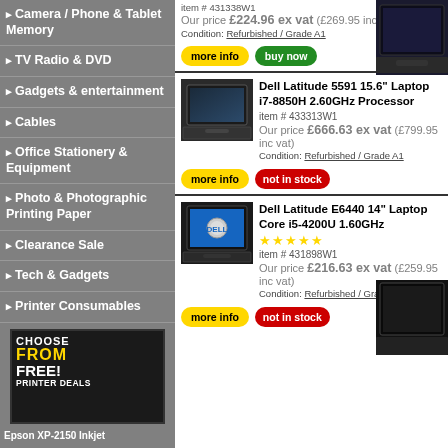Camera / Phone & Tablet Memory
TV Radio & DVD
Gadgets & entertainment
Cables
Office Stationery & Equipment
Photo & Photographic Printing Paper
Clearance Sale
Tech & Gadgets
Printer Consumables
[Figure (infographic): CHOOSE FROM FREE! PRINTER DEALS promotional banner]
Epson XP-2150 Inkjet
item # 431338W1
Our price £224.96 ex vat (£269.95 inc vat)
Condition: Refurbished / Grade A1
more info | buy now
Dell Latitude 5591 15.6" Laptop i7-8850H 2.60GHz Processor
item # 433313W1
Our price £666.63 ex vat (£799.95 inc vat)
Condition: Refurbished / Grade A1
more info | not in stock
Dell Latitude E6440 14" Laptop Core i5-4200U 1.60GHz
item # 431898W1
Our price £216.63 ex vat (£259.95 inc vat)
Condition: Refurbished / Grade A1
more info | not in stock